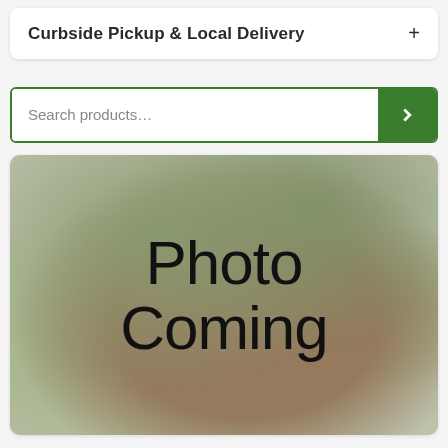Curbside Pickup & Local Delivery  +
Search products…
[Figure (photo): Photo Coming Soon placeholder image with pine needle/cone background and large text overlay reading 'Photo Coming']